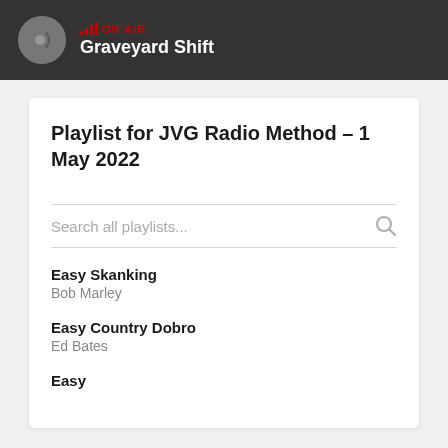ON AIR — Graveyard Shift
Playlist for JVG Radio Method – 1 May 2022
Search all playlists...
Easy Skanking — Bob Marley
Easy Country Dobro — Ed Bates
Easy